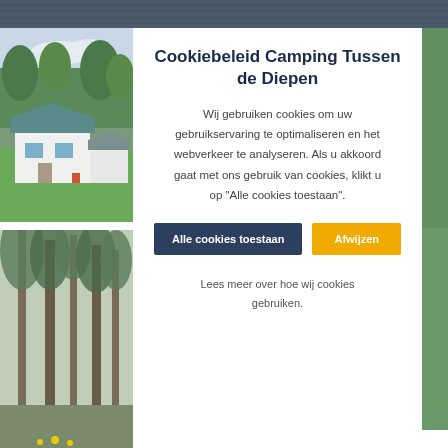[Figure (photo): Dark water surface at the top of the page]
[Figure (photo): Photo of a camping site with a white cottage, green lawn, and trees]
[Figure (photo): Photo of tall green trees in a misty/foggy setting at a campsite]
Cookiebeleid Camping Tussen de Diepen
Wij gebruiken cookies om uw gebruikservaring te optimaliseren en het webverkeer te analyseren. Als u akkoord gaat met ons gebruik van cookies, klikt u op "Alle cookies toestaan".
Alle cookies toestaan
Afwijzen
Lees meer over hoe wij cookies gebruiken.